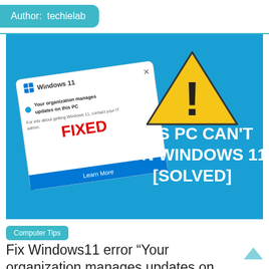Author:  techielab
[Figure (screenshot): Blue banner image showing a Windows 11 dialog box with text 'Your organization manages updates on this PC' and 'FIXED' in red, alongside large white text 'THIS PC CAN'T RUN WINDOWS 11 [SOLVED]' with a yellow warning triangle icon on a blue background.]
Computer Tips
Fix Windows11 error “Your organization manages updates on this PC” [Solved]